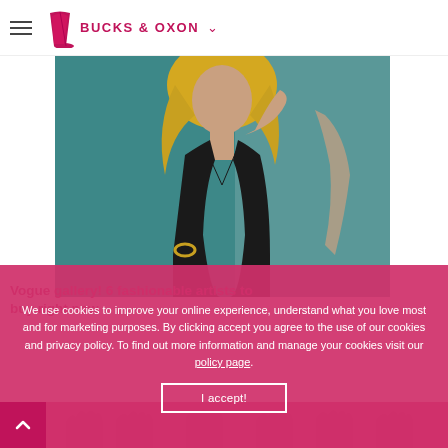BUCKS & OXON
[Figure (photo): Painting of a woman with blonde hair in a black dress against a teal/blue background]
Vogue gallery! 6 fashionable artists to buy right now
We use cookies to improve your online experience, understand what you love most and for marketing purposes. By clicking accept you agree to the use of our cookies and privacy policy. To find out more information and manage your cookies visit our policy page.
I accept!